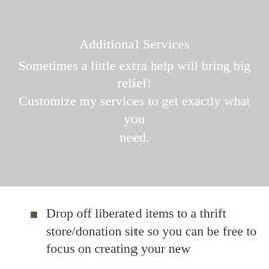Additional Services
Sometimes a little extra help will bring big relief! Customize my services to get exactly what you need.
Drop off liberated items to a thrift store/donation site so you can be free to focus on creating your new